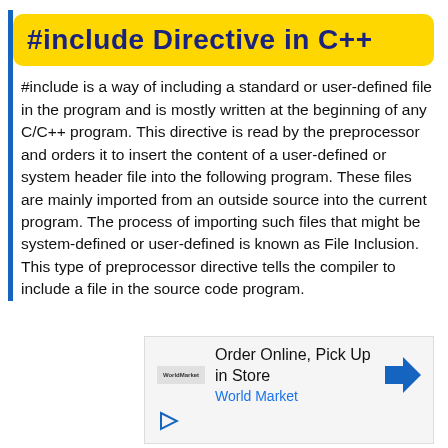#include Directive in C++
#include is a way of including a standard or user-defined file in the program and is mostly written at the beginning of any C/C++ program. This directive is read by the preprocessor and orders it to insert the content of a user-defined or system header file into the following program. These files are mainly imported from an outside source into the current program. The process of importing such files that might be system-defined or user-defined is known as File Inclusion. This type of preprocessor directive tells the compiler to include a file in the source code program.
[Figure (other): Advertisement banner: Order Online, Pick Up in Store – World Market]